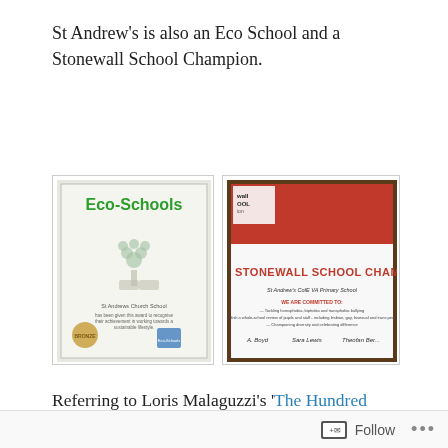St Andrew's is also an Eco School and a Stonewall School Champion.
[Figure (photo): Framed Eco-Schools bronze award certificate with tree logo and Eco-Schools branding]
[Figure (photo): Framed Stonewall School Champion certificate for St Andrew's CofE VA Primary School with red and white design]
Referring to Loris Malaguzzi's 'The Hundred Languages of Children', Jayne observed that:
Follow